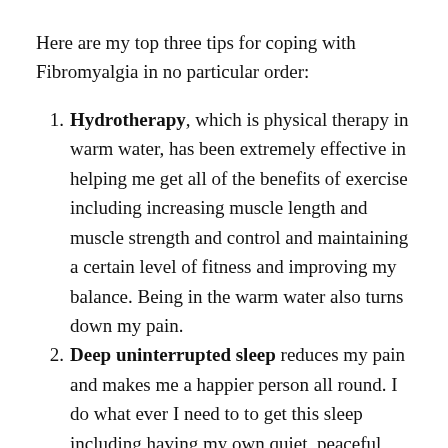Here are my top three tips for coping with Fibromyalgia in no particular order:
Hydrotherapy, which is physical therapy in warm water, has been extremely effective in helping me get all of the benefits of exercise including increasing muscle length and muscle strength and control and maintaining a certain level of fitness and improving my balance. Being in the warm water also turns down my pain.
Deep uninterrupted sleep reduces my pain and makes me a happier person all round. I do what ever I need to to get this sleep including having my own quiet, peaceful